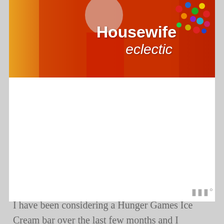[Figure (photo): Website banner header for 'Housewife Eclectic' blog. Orange/red background with a person in red outfit and colorful candies. White text reads 'Housewife eclectic'.]
[Figure (other): Advertisement placeholder area (white/blank space)]
I have been considering a Hunger Games Ice Cream bar over the last few months and I decided to go for it. I can't lie, in my Hunger